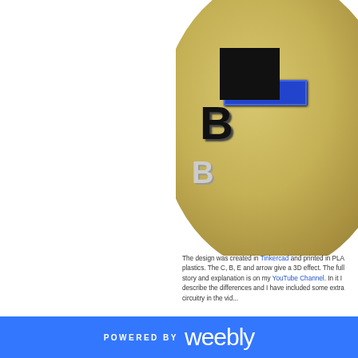[Figure (photo): Close-up photo of a 3D printed transistor coin/medallion in gold/bronze PLA with black letter characters C, B, E and blue accent pieces on top, showing transistor symbol components]
The design was created in Tinkercad and printed in PLA plastics. The C, B, E and arrow give a 3D effect. The full story and explanation is on my YouTube Channel. In it I describe the differences and I have included some extra circuitry in the video.
[Figure (screenshot): Video thumbnail showing 'How Transistors Wo...' with Filament Friday logo badge in red circle on left, dark red rectangles in background]
POWERED BY weebly